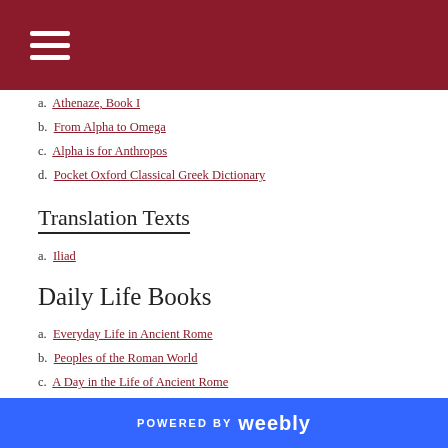☰ (navigation menu)
a. Athenaze, Book I
b. From Alpha to Omega
c. Alpha is for Anthropos
d. Pocket Oxford Classical Greek Dictionary
Translation Texts
a. Iliad
Daily Life Books
a. Everyday Life in Ancient Rome
b. Peoples of the Roman World
c. A Day in the Life of Ancient Rome
d. Daily Life in the Roman City
Vestes Romanae
POWERED BY weebly